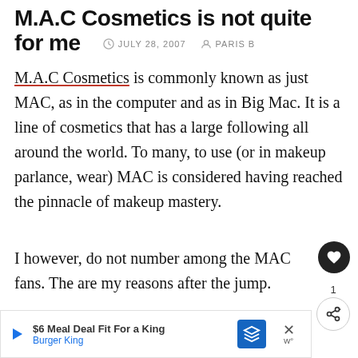M.A.C Cosmetics is not quite for me
JULY 28, 2007   PARIS B
M.A.C Cosmetics is commonly known as just MAC, as in the computer and as in Big Mac. It is a line of cosmetics that has a large following all around the world. To many, to use (or in makeup parlance, wear) MAC is considered having reached the pinnacle of makeup mastery.
I however, do not number among the MAC fans. The are my reasons after the jump.
Impracticality
$6 Meal Deal Fit For a King
Burger King